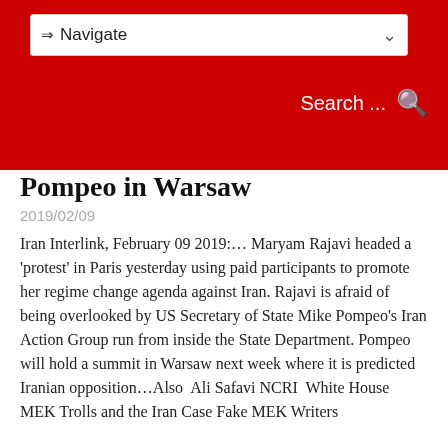⇒ Navigate
Pompeo in Warsaw
2019/02/09
Iran Interlink, February 09 2019:… Maryam Rajavi headed a 'protest' in Paris yesterday using paid participants to promote her regime change agenda against Iran. Rajavi is afraid of being overlooked by US Secretary of State Mike Pompeo's Iran Action Group run from inside the State Department. Pompeo will hold a summit in Warsaw next week where it is predicted Iranian opposition…Also  Ali Safavi NCRI  White House MEK Trolls and the Iran Case Fake MEK Writers